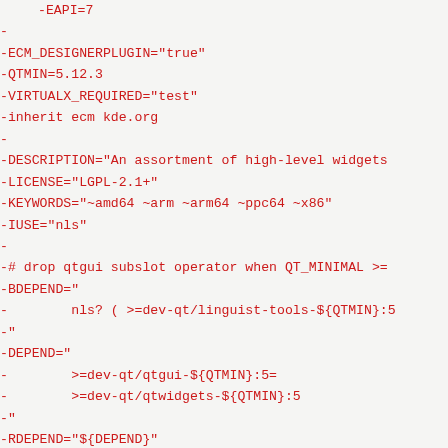-EAPI=7
-
-ECM_DESIGNERPLUGIN="true"
-QTMIN=5.12.3
-VIRTUALX_REQUIRED="test"
-inherit ecm kde.org
-
-DESCRIPTION="An assortment of high-level widgets
-LICENSE="LGPL-2.1+"
-KEYWORDS="~amd64 ~arm ~arm64 ~ppc64 ~x86"
-IUSE="nls"
-
-# drop qtgui subslot operator when QT_MINIMAL >=
-BDEPEND="
-        nls? ( >=dev-qt/linguist-tools-${QTMIN}:5
-"
-DEPEND="
-        >=dev-qt/qtgui-${QTMIN}:5=
-        >=dev-qt/qtwidgets-${QTMIN}:5
-"
-RDEPEND="${DEPEND}"